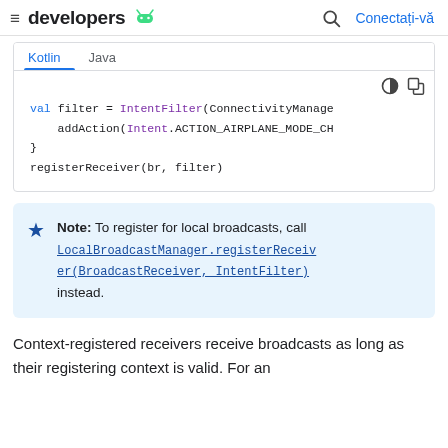≡ developers 🤖  🔍 Conectați-vă
[Figure (screenshot): Kotlin/Java code block showing: val filter = IntentFilter(ConnectivityManager... addAction(Intent.ACTION_AIRPLANE_MODE_CH... } registerReceiver(br, filter)]
Note: To register for local broadcasts, call LocalBroadcastManager.registerReceiver(BroadcastReceiver, IntentFilter) instead.
Context-registered receivers receive broadcasts as long as their registering context is valid. For an